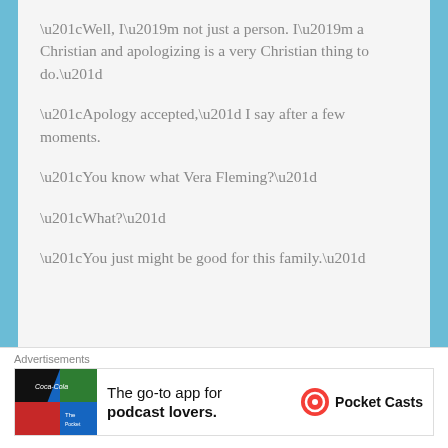“Well, I’m not just a person. I’m a Christian and apologizing is a very Christian thing to do.”
“Apology accepted,” I say after a few moments.
“You know what Vera Fleming?”
“What?”
“You just might be good for this family.”
Advertisements
The go-to app for podcast lovers. Pocket Casts